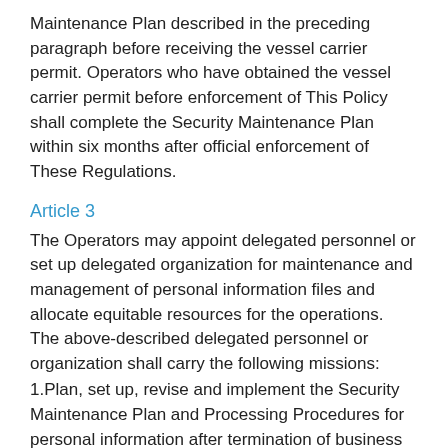Maintenance Plan described in the preceding paragraph before receiving the vessel carrier permit. Operators who have obtained the vessel carrier permit before enforcement of This Policy shall complete the Security Maintenance Plan within six months after official enforcement of These Regulations.
Article 3
The Operators may appoint delegated personnel or set up delegated organization for maintenance and management of personal information files and allocate equitable resources for the operations.
The above-described delegated personnel or organization shall carry the following missions:
1.Plan, set up, revise and implement the Security Maintenance Plan and Processing Procedures for personal information after termination of business dealings.
2.Set up personal information protection management policy and disclose the basis, purpose and other protection practices involving collection, processing and using of